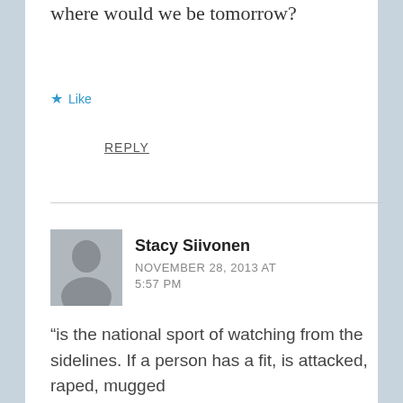where would we be tomorrow?
★ Like
REPLY
Stacy Siivonen
NOVEMBER 28, 2013 AT 5:57 PM
“is the national sport of watching from the sidelines. If a person has a fit, is attacked, raped, mugged